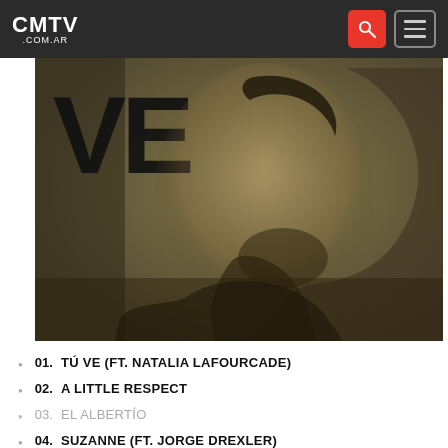CMTV .COM.AR
[Figure (photo): Black and white / sepia-toned album cover photo of a bearded man in profile, looking down, with large bold letters 'VE' visible in the background top-left]
01. TÚ VE (FT. NATALIA LAFOURCADE)
02. A LITTLE RESPECT
03. EL ALBERTÍO
04. SUZANNE (FT. JORGE DREXLER)